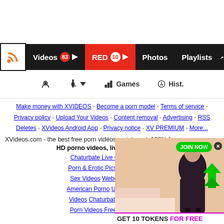Navigation bar: RSS | Videos 83 | RED 10 | Photos | Playlists | trending | star icons
[Figure (screenshot): Website toolbar with webcam icon, person icon with dropdown, Games icon, and Hist. (History) icon]
Make money with XVIDEOS - Become a porn model - Terms of service - Privacy policy - Upload Your Videos - Content removal - Advertising - RSS Deletes - XVideos Android App - Privacy notice - XV PREMIUM - More...
XVideos.com - the best free porn videos on internet, 100% free.
HD porno videos, live cam pornochat
Chaturbate Live Cams  Amate... Porn & Erotic Pics  Hot Russian... Sex Videos  Webcam Chat  Se... American Porno  U Porno TOP A... Videos  Chaturbate.su  Amateur... Porn Videos Free Porno HD F...
[Figure (photo): Advertising overlay showing a woman in lingerie, a JOIN NOW green button, a close X button, and a GET 10 TOKENS FOR FREE banner at the bottom]